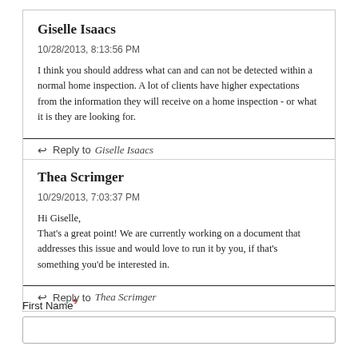Giselle Isaacs
10/28/2013, 8:13:56 PM
I think you should address what can and can not be detected within a normal home inspection. A lot of clients have higher expectations from the information they will receive on a home inspection - or what it is they are looking for.
↩ Reply to Giselle Isaacs
Thea Scrimger
10/29/2013, 7:03:37 PM
Hi Giselle,
That's a great point! We are currently working on a document that addresses this issue and would love to run it by you, if that's something you'd be interested in.
↩ Reply to Thea Scrimger
First Name*